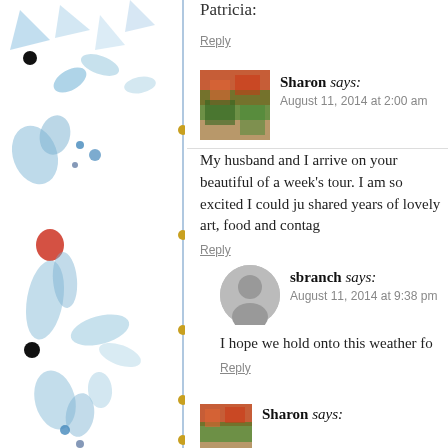[Figure (illustration): Blue and white decorative watercolor-style illustration with floral and bird motifs on left sidebar]
Patricia:
Reply
Sharon says:
August 11, 2014 at 2:00 am

My husband and I arrive on your beautiful of a week's tour. I am so excited I could ju shared years of lovely art, food and contag
Reply
sbranch says:
August 11, 2014 at 9:38 pm

I hope we hold onto this weather fo
Reply
Sharon says: